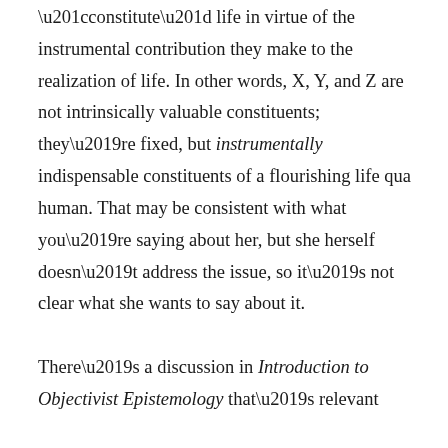“constitute” life in virtue of the instrumental contribution they make to the realization of life. In other words, X, Y, and Z are not intrinsically valuable constituents; they’re fixed, but instrumentally indispensable constituents of a flourishing life qua human. That may be consistent with what you’re saying about her, but she herself doesn’t address the issue, so it’s not clear what she wants to say about it.
There’s a discussion in Introduction to Objectivist Epistemology that’s relevant